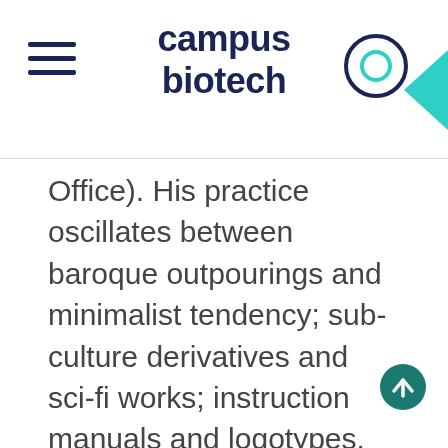campus biotech
Office). His practice oscillates between baroque outpourings and minimalist tendency; sub-culture derivatives and sci-fi works; instruction manuals and logotypes. Frequent visits to peculiar and specialist bookshops helped shape